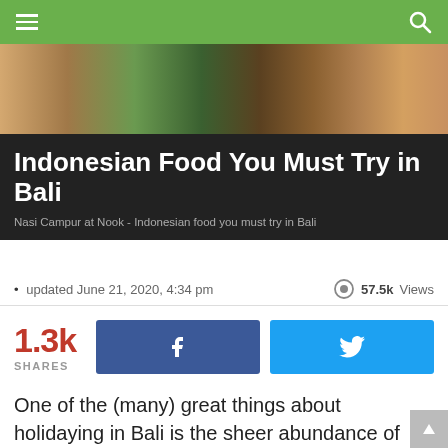[Figure (photo): Food photo showing Indonesian dishes - meat and greens on a plate, overhead view]
Indonesian Food You Must Try in Bali
Nasi Campur at Nook - Indonesian food you must try in Bali
• updated June 21, 2020, 4:34 pm    👁 57.5k Views
1.3k SHARES
One of the (many) great things about holidaying in Bali is the sheer abundance of dining options, from high-end restaurants to world-class cafes